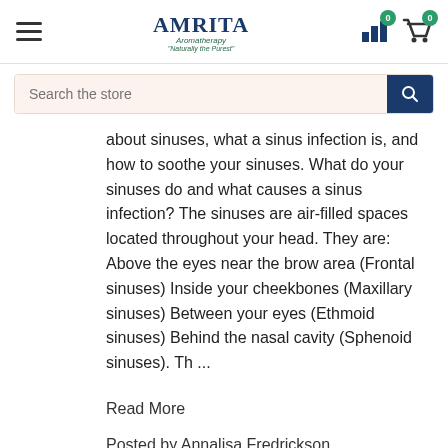[Figure (logo): Amrita Aromatherapy logo with hamburger menu, bar chart icon and shopping cart icons with zero badges]
[Figure (screenshot): Search the store input bar with dark blue search button]
about sinuses, what a sinus infection is, and how to soothe your sinuses. What do your sinuses do and what causes a sinus infection? The sinuses are air-filled spaces located throughout your head. They are: Above the eyes near the brow area (Frontal sinuses) Inside your cheekbones (Maxillary sinuses) Between your eyes (Ethmoid sinuses) Behind the nasal cavity (Sphenoid sinuses). Th ...
Read More
Posted by Annalisa Fredrickson